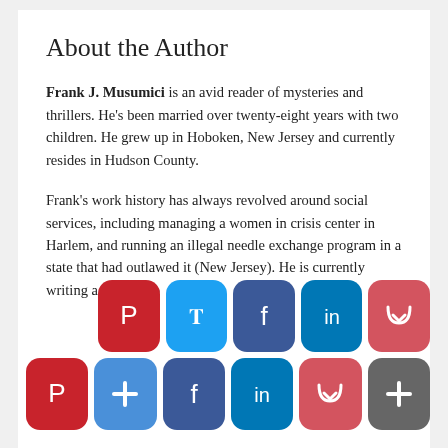About the Author
Frank J. Musumici is an avid reader of mysteries and thrillers. He’s been married over twenty-eight years with two children. He grew up in Hoboken, New Jersey and currently resides in Hudson County.
Frank’s work history has always revolved around social services, including managing a women in crisis center in Harlem, and running an illegal needle exchange program in a state that had outlawed it (New Jersey). He is currently writing a second novel.
[Figure (other): Two rows of social media sharing icons: Pinterest, Twitter, Facebook, LinkedIn, Pocket, and a plus/share button.]